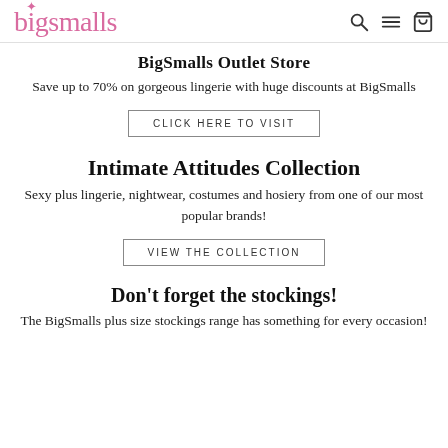bigsmalls
BigSmalls Outlet Store
Save up to 70% on gorgeous lingerie with huge discounts at BigSmalls
CLICK HERE TO VISIT
Intimate Attitudes Collection
Sexy plus lingerie, nightwear, costumes and hosiery from one of our most popular brands!
VIEW THE COLLECTION
Don't forget the stockings!
The BigSmalls plus size stockings range has something for every occasion!